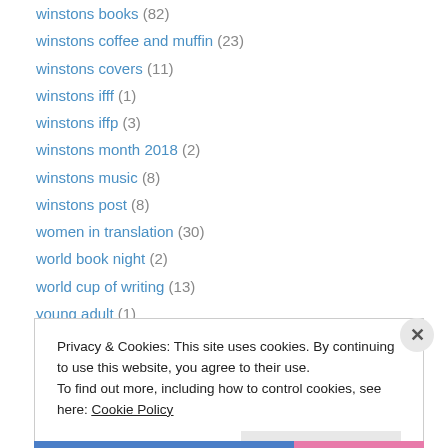winstons books (82)
winstons coffee and muffin (23)
winstons covers (11)
winstons ifff (1)
winstons iffp (3)
winstons month 2018 (2)
winstons music (8)
winstons post (8)
women in translation (30)
world book night (2)
world cup of writing (13)
young adult (1)
Privacy & Cookies: This site uses cookies. By continuing to use this website, you agree to their use. To find out more, including how to control cookies, see here: Cookie Policy